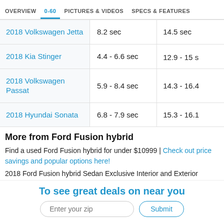OVERVIEW   0-60   PICTURES & VIDEOS   SPECS & FEATURES
| Car | 0-60 | Quarter Mile |
| --- | --- | --- |
| 2018 Volkswagen Jetta | 8.2 sec | 14.5 sec |
| 2018 Kia Stinger | 4.4 - 6.6 sec | 12.9 - 15 s |
| 2018 Volkswagen Passat | 5.9 - 8.4 sec | 14.3 - 16.4 |
| 2018 Hyundai Sonata | 6.8 - 7.9 sec | 15.3 - 16.1 |
More from Ford Fusion hybrid
Find a used Ford Fusion hybrid for under $10999 | Check out price savings and popular options here!
2018 Ford Fusion hybrid Sedan Exclusive Interior and Exterior
To see great deals on near you